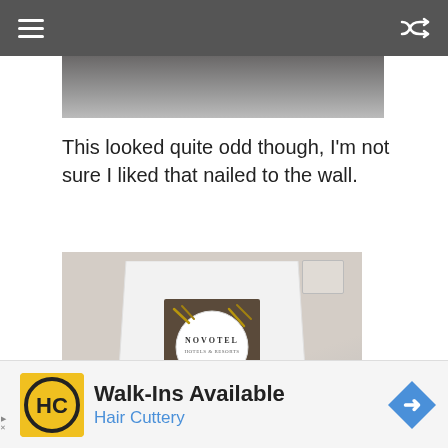Navigation bar with hamburger menu and shuffle icon
[Figure (photo): Partial top of a photo, showing a dark surface, cropped]
This looked quite odd though, I'm not sure I liked that nailed to the wall.
[Figure (photo): A white box (amenity holder) with a Novotel branded circular label on top, containing small items inside, placed on a light surface]
[Figure (infographic): Advertisement banner: HC Hair Cuttery logo, Walk-Ins Available, Hair Cuttery, navigation arrow icon]